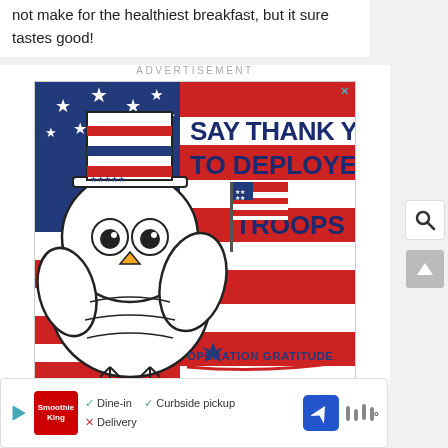not make for the healthiest breakfast, but it sure tastes good!
[Figure (illustration): Advertisement banner for Operation Gratitude showing an owl cartoon character wearing a patriotic Uncle Sam hat and holding an American flag, against a red and blue American flag brushstroke background. Text reads SAY THANK YOU TO DEPLOYED TROOPS and OPERATION GRATITUDE logo at bottom right.]
[Figure (infographic): Bottom bar showing Smoothie King restaurant info with play button, checkmarks for Dine-in and Curbside pickup, X for Delivery, navigation arrow icon, and wave/signal icon.]